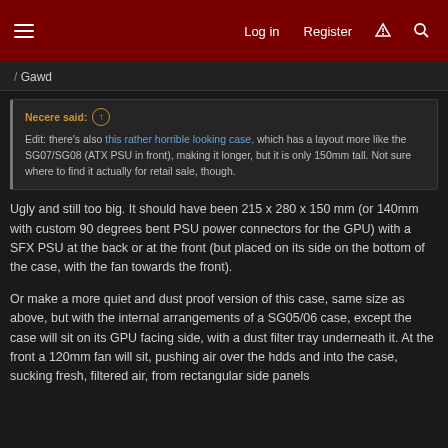Log in | Register
Gawd
Necere said: ↑ Edit: there's also this rather horrible looking case, which has a layout more like the SG07/SG08 (ATX PSU in front), making it longer, but it is only 150mm tall. Not sure where to find it actually for retail sale, though.
Ugly and still too big. It should have been 215 x 280 x 150 mm (or 140mm with custom 90 degrees bent PSU power connectors for the GPU) with a SFX PSU at the back or at the front (but placed on its side on the bottom of the case, with the fan towards the front).
Or make a more quiet and dust proof version of this case, same size as above, but with the internal arrangements of a SG05/06 case, except the case will sit on its GPU facing side, with a dust filter tray underneath it. At the front a 120mm fan will sit, pushing air over the hdds and into the case, sucking fresh, filtered air, from rectangular side panels